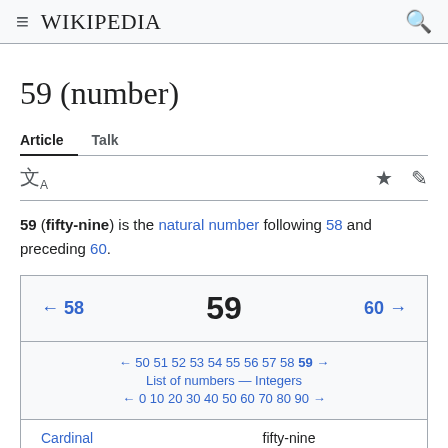Wikipedia
59 (number)
Article  Talk
59 (fifty-nine) is the natural number following 58 and preceding 60.
| ← 58 | 59 | 60 → |
| ← 50 51 52 53 54 55 56 57 58 59 →
List of numbers — Integers
← 0 10 20 30 40 50 60 70 80 90 → |
| Cardinal | fifty-nine |